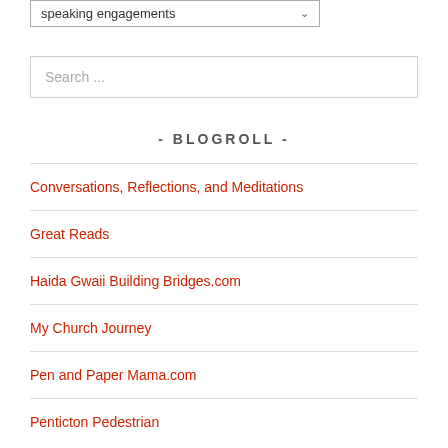speaking engagements
Search ...
- BLOGROLL -
Conversations, Reflections, and Meditations
Great Reads
Haida Gwaii Building Bridges.com
My Church Journey
Pen and Paper Mama.com
Penticton Pedestrian